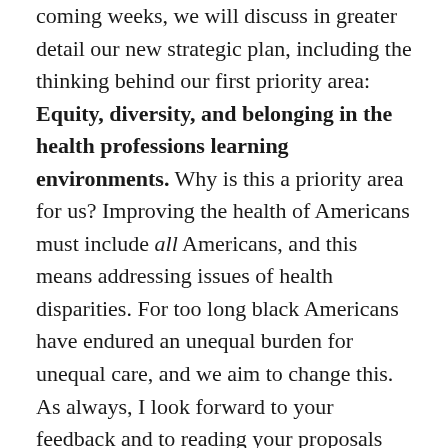coming weeks, we will discuss in greater detail our new strategic plan, including the thinking behind our first priority area: Equity, diversity, and belonging in the health professions learning environments. Why is this a priority area for us? Improving the health of Americans must include all Americans, and this means addressing issues of health disparities. For too long black Americans have endured an unequal burden for unequal care, and we aim to change this. As always, I look forward to your feedback and to reading your proposals for Macy Foundation funding support. Together, we must insist that black Americans, as well as other minorities, have opportunities for education and